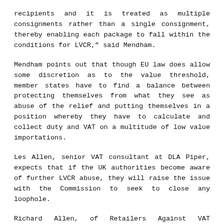recipients and it is treated as multiple consignments rather than a single consignment, thereby enabling each package to fall within the conditions for LVCR," said Mendham.
Mendham points out that though EU law does allow some discretion as to the value threshold, member states have to find a balance between protecting themselves from what they see as abuse of the relief and putting themselves in a position whereby they have to calculate and collect duty and VAT on a multitude of low value importations.
Les Allen, senior VAT consultant at DLA Piper, expects that if the UK authorities become aware of further LVCR abuse, they will raise the issue with the Commission to seek to close any loophole.
Richard Allen, of Retailers Against VAT Avoidance Schemes (RAVAS), points out that member states do not have any discretion with regards to allowing abusive avoidance or evasion, despite the letter of EU law. He is concerned at the debate over the final importation rules in relation to